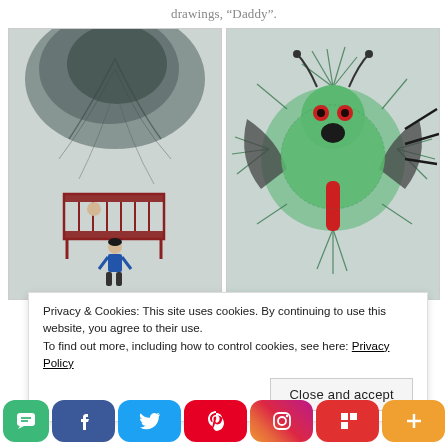drawings, "Daddy".
[Figure (illustration): Two children's drawings side by side. Left: a pencil drawing showing a dark swirling tornado-like shape above a child in a crib and a figure in a blue shirt standing below. Right: a colored drawing of a green furry monster creature with red eyes, wings, and a red body element.]
Privacy & Cookies: This site uses cookies. By continuing to use this website, you agree to their use.
To find out more, including how to control cookies, see here: Privacy Policy
Close and accept